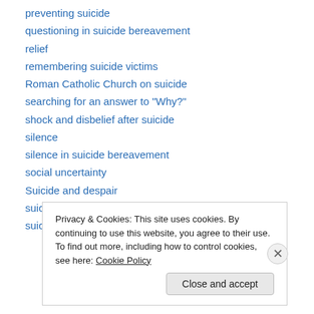preventing suicide
questioning in suicide bereavement
relief
remembering suicide victims
Roman Catholic Church on suicide
searching for an answer to "Why?"
shock and disbelief after suicide
silence
silence in suicide bereavement
social uncertainty
Suicide and despair
suicide bereavement
suicide calls God into question
Privacy & Cookies: This site uses cookies. By continuing to use this website, you agree to their use. To find out more, including how to control cookies, see here: Cookie Policy
Close and accept